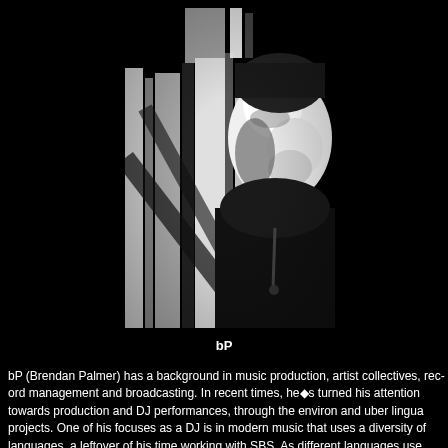[Figure (photo): High contrast black and white portrait photo of a person wearing a dark hoodie and beanie hat, with a striped background element, facing slightly to the right]
bP
bP (Brendan Palmer) has a background in music production, artist collectives, record management and broadcasting. In recent times, heÿs turned his attention towards production and DJ performances, through the environ and uber lingua projects. One of his focuses as a DJ is in modern music that uses a diversity of languages, a leftover of his time working with SBS. As different languages use different parts of the brain, and as languages not understood by a listener become a non-contextual, s